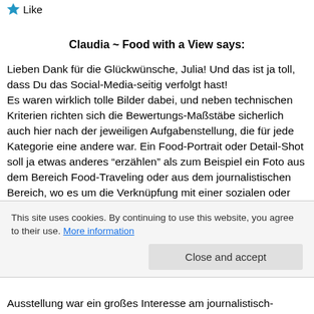[Figure (other): Blue star icon with 'Like' text]
Claudia ~ Food with a View says:
Lieben Dank für die Glückwünsche, Julia! Und das ist ja toll, dass Du das Social-Media-seitig verfolgt hast!
Es waren wirklich tolle Bilder dabei, und neben technischen Kriterien richten sich die Bewertungs-Maßstäbe sicherlich auch hier nach der jeweiligen Aufgabenstellung, die für jede Kategorie eine andere war. Ein Food-Portrait oder Detail-Shot soll ja etwas anderes “erzählen” als zum Beispiel ein Foto aus dem Bereich Food-Traveling oder aus dem journalistischen Bereich, wo es um die Verknüpfung mit einer sozialen oder politischen Aussage geht. Eine Handschrift ist
This site uses cookies. By continuing to use this website, you agree to their use. More information
Close and accept
Ausstellung war ein großes Interesse am journalistisch-